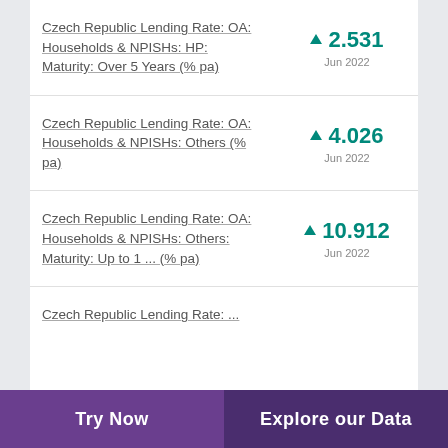Czech Republic Lending Rate: OA: Households & NPISHs: HP: Maturity: Over 5 Years (% pa)
Czech Republic Lending Rate: OA: Households & NPISHs: Others (% pa)
Czech Republic Lending Rate: OA: Households & NPISHs: Others: Maturity: Up to 1 ... (% pa)
Czech Republic Lending Rate: ...
Try Now | Explore our Data